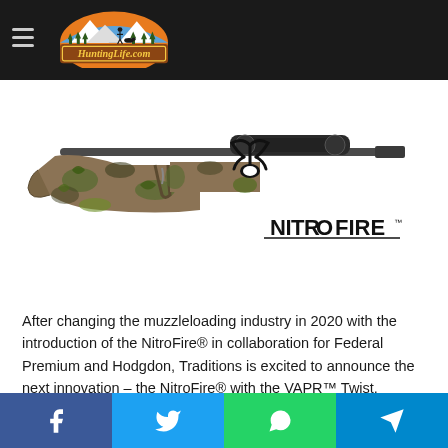HuntingLife.com
[Figure (photo): Traditions NitroFire muzzleloader rifle with camouflage stock, alongside the NitroFire logo featuring deer antlers]
After changing the muzzleloading industry in 2020 with the introduction of the NitroFire® in collaboration for Federal Premium and Hodgdon, Traditions is excited to announce the next innovation – the NitroFire® with the VAPR™ Twist.
Facebook, Twitter, WhatsApp, Telegram share buttons